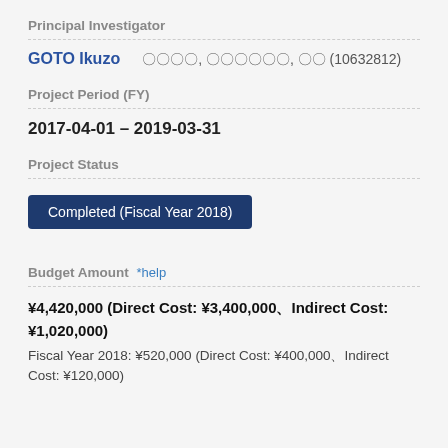Principal Investigator
GOTO Ikuzo　　〇〇〇〇, 〇〇〇〇〇〇, 〇〇 (10632812)
Project Period (FY)
2017-04-01 – 2019-03-31
Project Status
Completed (Fiscal Year 2018)
Budget Amount *help
¥4,420,000 (Direct Cost: ¥3,400,000、Indirect Cost: ¥1,020,000)
Fiscal Year 2018: ¥520,000 (Direct Cost: ¥400,000、Indirect Cost: ¥120,000)